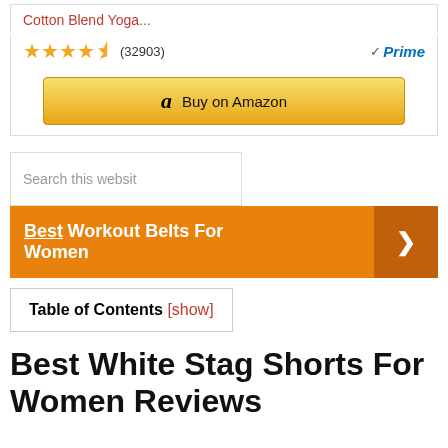Cotton Blend Yoga...
★★★★½ (32903)  ✓Prime
[Figure (other): Buy on Amazon button with Amazon logo]
Search this website
Best  Workout Belts For Women  ❯
Table of Contents [show]
Best White Stag Shorts For Women Reviews